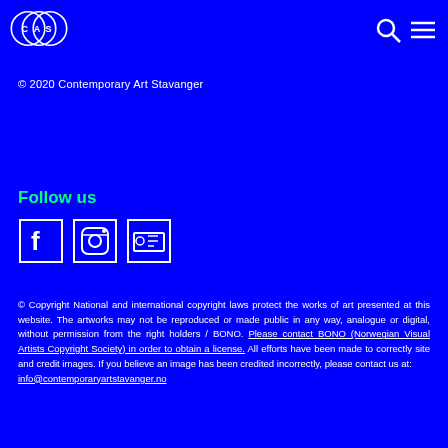[Figure (logo): CAS logo - three overlapping circles with letters C, A, S inside, white outline on blue background]
[Figure (other): Search icon (magnifying glass) and hamburger menu icon, white on blue]
© 2020 Contemporary Art Stavanger
Follow us
[Figure (other): Social media icons: Facebook, Instagram, and another platform (possibly Vimeo or similar), white outlined squares on blue]
© Copyright National and international copyright laws protect the works of art presented at this website. The artworks may not be reproduced or made public in any way, analogue or digital, without permission from the right holders / BONO. Please contact BONO (Norwegian Visual Artists Copyright Society) in order to obtain a license. All efforts have been made to correctly site and credit images. If you believe an image has been credited incorrectly, please contact us at:
info@contemporaryartstavanger.no